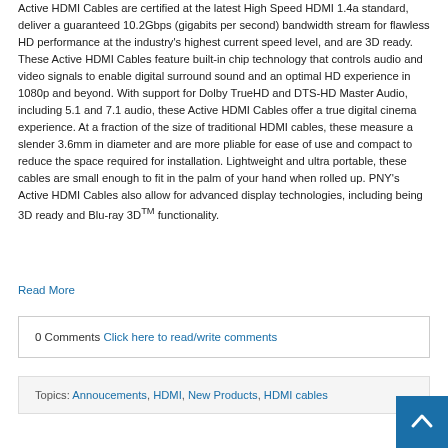Active HDMI Cables are certified at the latest High Speed HDMI 1.4a standard, deliver a guaranteed 10.2Gbps (gigabits per second) bandwidth stream for flawless HD performance at the industry's highest current speed level, and are 3D ready. These Active HDMI Cables feature built-in chip technology that controls audio and video signals to enable digital surround sound and an optimal HD experience in 1080p and beyond. With support for Dolby TrueHD and DTS-HD Master Audio, including 5.1 and 7.1 audio, these Active HDMI Cables offer a true digital cinema experience. At a fraction of the size of traditional HDMI cables, these measure a slender 3.6mm in diameter and are more pliable for ease of use and compact to reduce the space required for installation. Lightweight and ultra portable, these cables are small enough to fit in the palm of your hand when rolled up. PNY's Active HDMI Cables also allow for advanced display technologies, including being 3D ready and Blu-ray 3D™ functionality.
Read More
0 Comments Click here to read/write comments
Topics: Annoucements, HDMI, New Products, HDMI cables